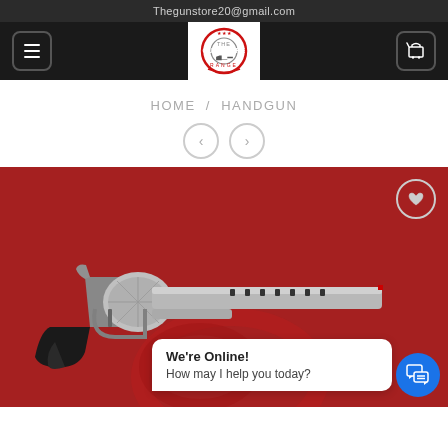Thegunstore20@gmail.com
[Figure (logo): The Gun Store Range logo - circular red and black logo with gun silhouette]
HOME / HANDGUN
[Figure (photo): Silver/stainless steel revolver handgun on red background with black rubber grip, showing cylinder and long barrel with vent holes]
We're Online!
How may I help you today?